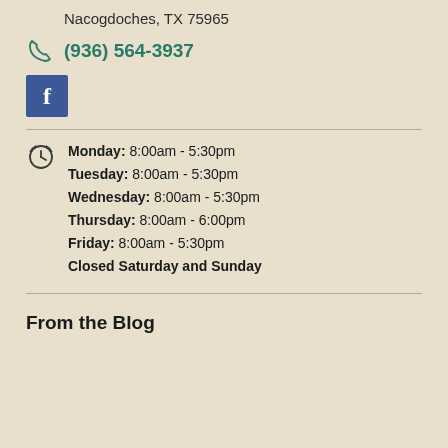Nacogdoches, TX 75965
(936) 564-3937
[Figure (logo): Facebook logo icon — blue square with white 'f']
Monday: 8:00am - 5:30pm
Tuesday: 8:00am - 5:30pm
Wednesday: 8:00am - 5:30pm
Thursday: 8:00am - 6:00pm
Friday: 8:00am - 5:30pm
Closed Saturday and Sunday
From the Blog